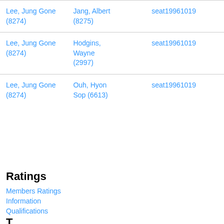| Lee, Jung Gone (8274) | Jang, Albert (8275) | seat19961019 |
| Lee, Jung Gone (8274) | Hodgins, Wayne (2997) | seat19961019 |
| Lee, Jung Gone (8274) | Ouh, Hyon Sop (6613) | seat19961019 |
Ratings
Members Ratings
Information
Qualifications